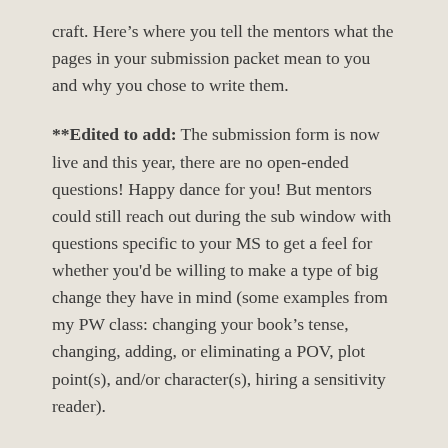craft. Here's where you tell the mentors what the pages in your submission packet mean to you and why you chose to write them.
**Edited to add: The submission form is now live and this year, there are no open-ended questions! Happy dance for you! But mentors could still reach out during the sub window with questions specific to your MS to get a feel for whether you'd be willing to make a type of big change they have in mind (some examples from my PW class: changing your book's tense, changing, adding, or eliminating a POV, plot point(s), and/or character(s), hiring a sensitivity reader).
They might also ask things like what you think are your book's strengths and weaknesses, why you are applying, what you hope to get out of the experience, and/or about the MS's querying history. If you get a message like that from a mentor, I